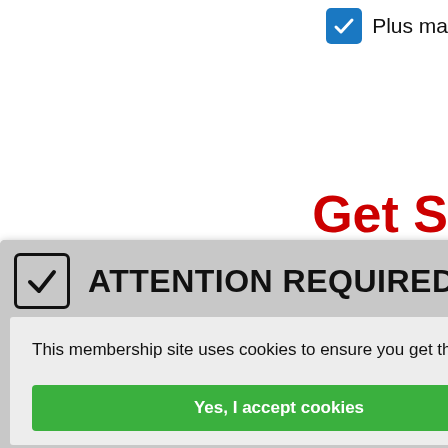Plus ma...
Get S...
[Figure (screenshot): Cookie consent modal with ATTENTION REQUIRED! header, cookie policy text, and two buttons: Yes, I accept cookies (green) and Privacy Center (gray)]